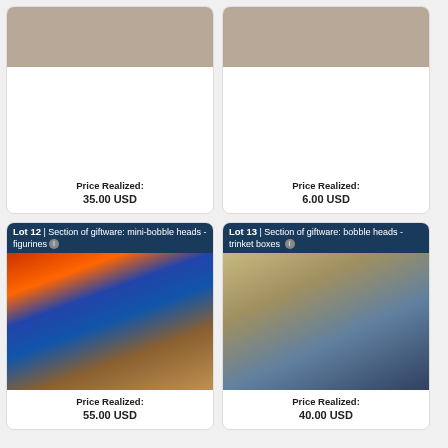[Figure (photo): Auction lot photo - top left card, items visible]
Price Realized:
35.00 USD
[Figure (photo): Auction lot photo - top right card, items visible]
Price Realized:
6.00 USD
[Figure (photo): Lot 12 | Section of giftware: mini-bobble heads - figurines. Photo of store shelves with figurines and bobble heads.]
Price Realized:
55.00 USD
[Figure (photo): Lot 13 | Section of giftware: bobble heads - trinket boxes. Photo of store shelves with bobble heads and trinket boxes.]
Price Realized:
40.00 USD